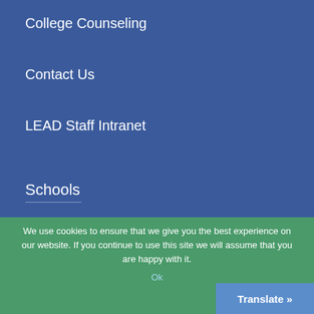College Counseling
Contact Us
LEAD Staff Intranet
Schools
LEAD Academy
LEAD Brick Church
LEAD Cameron
We use cookies to ensure that we give you the best experience on our website. If you continue to use this site we will assume that you are happy with it.
Ok
Translate »